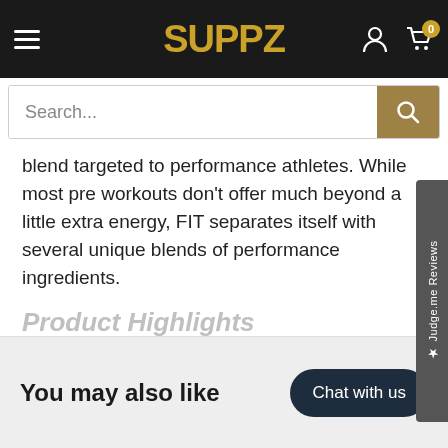SUPPZ
blend targeted to performance athletes. While most pre workouts don't offer much beyond a little extra energy, FIT separates itself with several unique blends of performance ingredients.
Product Highlights
+ View more
You may also like